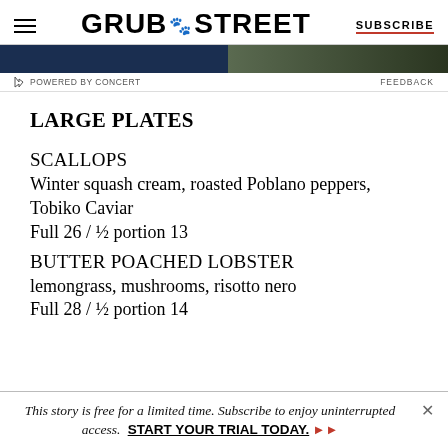GRUB STREET — SUBSCRIBE
[Figure (screenshot): Advertisement banner with dark navy and green gradient]
POWERED BY CONCERT   FEEDBACK
LARGE PLATES
SCALLOPS
Winter squash cream, roasted Poblano peppers, Tobiko Caviar
Full 26 / ½ portion 13
BUTTER POACHED LOBSTER
lemongrass, mushrooms, risotto nero
Full 28 / ½ portion 14
This story is free for a limited time. Subscribe to enjoy uninterrupted access. START YOUR TRIAL TODAY.